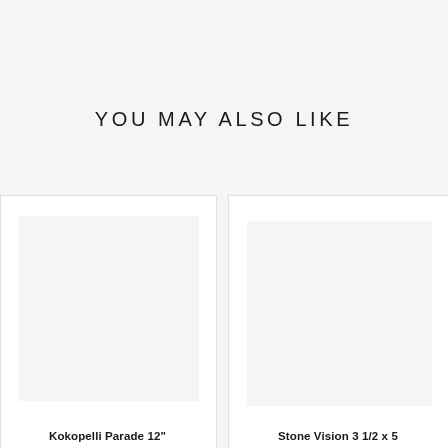YOU MAY ALSO LIKE
[Figure (photo): Product image placeholder (left card) - light gray rectangle representing a product photo]
[Figure (photo): Product image placeholder (right card) - light gray rectangle representing a product photo]
Kokopelli Parade 12"
Stone Vision 3 1/2 x 5